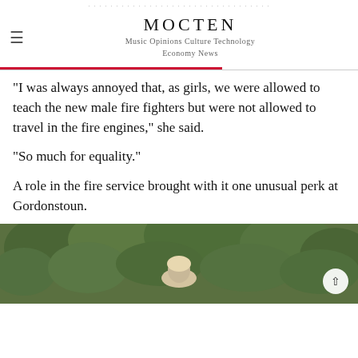MOCTEN
Music Opinions Culture Technology Economy News
"I was always annoyed that, as girls, we were allowed to teach the new male fire fighters but were not allowed to travel in the fire engines," she said.
"So much for equality."
A role in the fire service brought with it one unusual perk at Gordonstoun.
[Figure (photo): Outdoor photo of a person with short blonde hair in front of green foliage/trees. A circular scroll-up button is visible in the lower right corner of the image.]